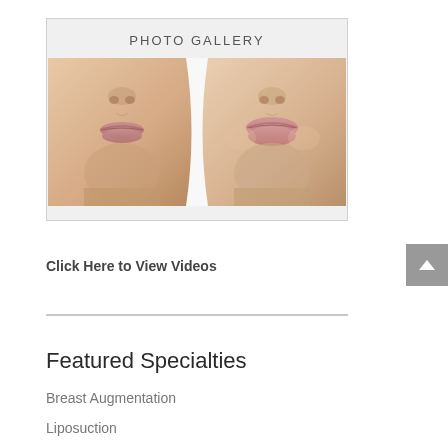[Figure (photo): Photo gallery box showing before and after images of a woman's lower face and lips, a plastic surgery before/after comparison. The box has a light gray background with 'PHOTO GALLERY' text at the top and two side-by-side facial images.]
Click Here to View Videos
Featured Specialties
Breast Augmentation
Liposuction